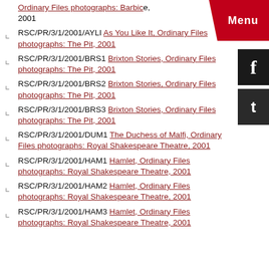Ordinary Files photographs: Barbican, 2001
RSC/PR/3/1/2001/AYLI As You Like It, Ordinary Files photographs: The Pit, 2001
RSC/PR/3/1/2001/BRS1 Brixton Stories, Ordinary Files photographs: The Pit, 2001
RSC/PR/3/1/2001/BRS2 Brixton Stories, Ordinary Files photographs: The Pit, 2001
RSC/PR/3/1/2001/BRS3 Brixton Stories, Ordinary Files photographs: The Pit, 2001
RSC/PR/3/1/2001/DUM1 The Duchess of Malfi, Ordinary Files photographs: Royal Shakespeare Theatre, 2001
RSC/PR/3/1/2001/HAM1 Hamlet, Ordinary Files photographs: Royal Shakespeare Theatre, 2001
RSC/PR/3/1/2001/HAM2 Hamlet, Ordinary Files photographs: Royal Shakespeare Theatre, 2001
RSC/PR/3/1/2001/HAM3 Hamlet, Ordinary Files photographs: Royal Shakespeare Theatre, 2001